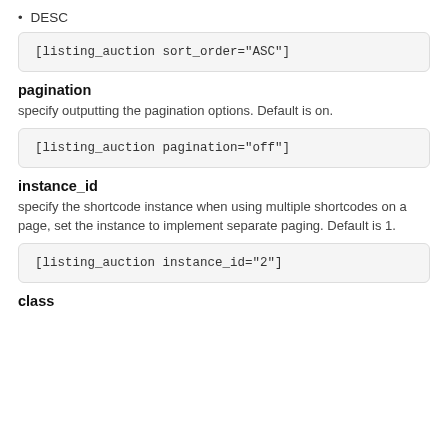DESC
[listing_auction sort_order="ASC"]
pagination
specify outputting the pagination options. Default is on.
[listing_auction pagination="off"]
instance_id
specify the shortcode instance when using multiple shortcodes on a page, set the instance to implement separate paging. Default is 1.
[listing_auction instance_id="2"]
class